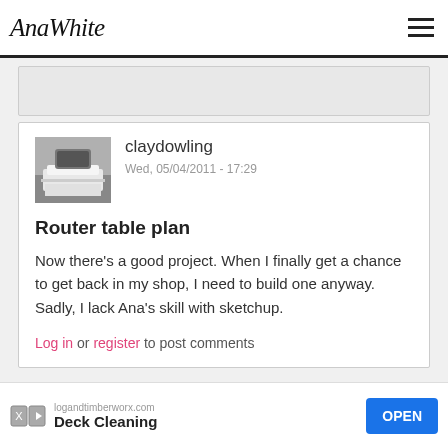AnaWhite
[Figure (screenshot): Partially visible previous comment card with gray background]
[Figure (photo): User avatar thumbnail showing a bed with white bedding]
claydowling
Wed, 05/04/2011 - 17:29
Router table plan
Now there's a good project. When I finally get a chance to get back in my shop, I need to build one anyway. Sadly, I lack Ana's skill with sketchup.
Log in or register to post comments
logandtimberworx.com Deck Cleaning OPEN